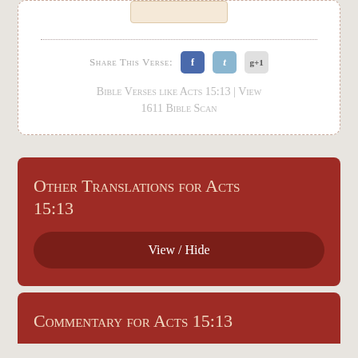Share This Verse:
Bible Verses like Acts 15:13 | View 1611 Bible Scan
Other Translations for Acts 15:13
View / Hide
Commentary for Acts 15:13